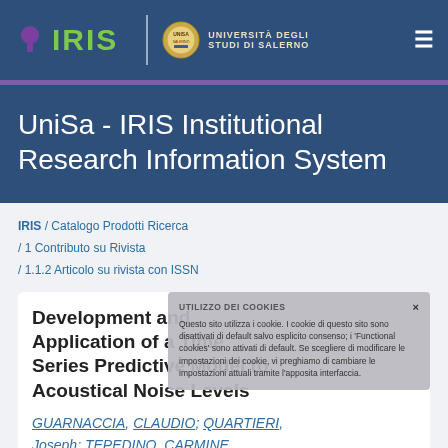[Figure (logo): IRIS logo with green text and purple brain icon, beside Università degli Studi di Salerno emblem and text, on dark blue navigation bar]
UniSa - IRIS Institutional Research Information System
IRIS / Catalogo Prodotti Ricerca / 1 Contributo su Rivista / 1.1.2 Articolo su rivista con ISSN
Development and Application of a Time Series Predictive Model to Acoustical Noise Levels
GUARNACCIA, CLAUDIO; QUARTIERI, Joseph; TEPEDINO, CARMINE